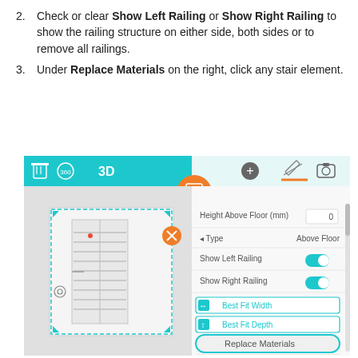2. Check or clear Show Left Railing or Show Right Railing to show the railing structure on either side, both sides or to remove all railings.
3. Under Replace Materials on the right, click any stair element.
[Figure (screenshot): Software UI screenshot showing a floor plan view on the left with a stair element selected (dashed selection border with teal corner arrows and an orange X delete button), and a properties panel on the right showing Height Above Floor (mm): 0, Type: Above Floor, Show Left Railing toggle (on), Show Right Railing toggle (on), Best Fit Width button, Best Fit Depth button, Replace Materials section (circled in teal), and material items: Baluster, Handrail, Newel. A toolbar at the top shows 3D view controls (delete, 360, 3D) on the left and plus, pencil, camera icons on the right with a selected orange door icon.]